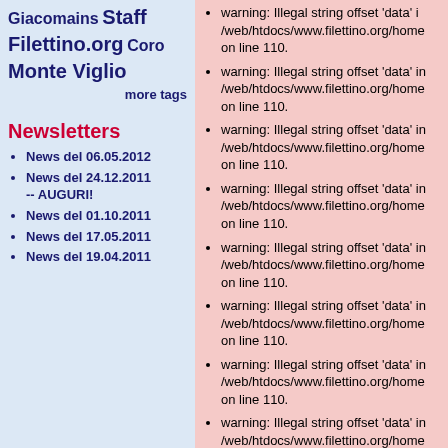Giacomains Staff Filettino.org Coro Monte Viglio
more tags
Newsletters
News del 06.05.2012
News del 24.12.2011 -- AUGURI!
News del 01.10.2011
News del 17.05.2011
News del 19.04.2011
warning: Illegal string offset 'data' in /web/htdocs/www.filettino.org/home on line 110.
warning: Illegal string offset 'data' in /web/htdocs/www.filettino.org/home on line 110.
warning: Illegal string offset 'data' in /web/htdocs/www.filettino.org/home on line 110.
warning: Illegal string offset 'data' in /web/htdocs/www.filettino.org/home on line 110.
warning: Illegal string offset 'data' in /web/htdocs/www.filettino.org/home on line 110.
warning: Illegal string offset 'data' in /web/htdocs/www.filettino.org/home on line 110.
warning: Illegal string offset 'data' in /web/htdocs/www.filettino.org/home on line 110.
warning: Illegal string offset 'data' in /web/htdocs/www.filettino.org/home on line 110.
warning: Illegal string offset 'data' in /web/htdocs/www.filettino.org/home on line 110.